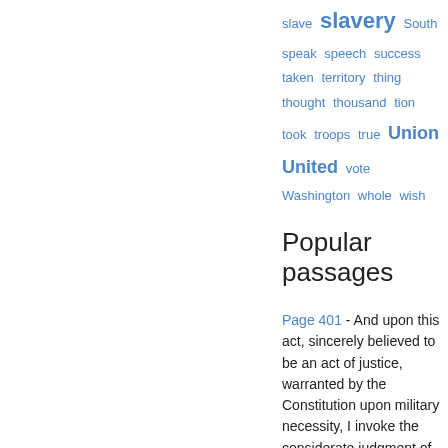slave  slavery  South  speak  speech  success  taken  territory  thing  thought  thousand  tion  took  troops  true  Union  United  vote  Washington  whole  wish
Popular passages
Page 401 - And upon this act, sincerely believed to be an act of justice, warranted by the Constitution upon military necessity, I invoke the considerate judgment of mankind, and the gracious favor of